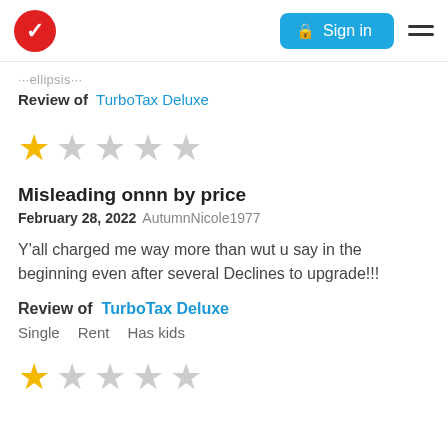Sign in
...ellipsis/truncated text
Review of  TurboTax Deluxe
[Figure (other): 1 out of 5 stars rating — one yellow star followed by four gray stars]
Misleading onnn by price
February 28, 2022  AutumnNicole1977
Y'all charged me way more than wut u say in the beginning even after several Declines to upgrade!!!
Review of  TurboTax Deluxe
Single    Rent    Has kids
[Figure (other): Partial view of star rating at bottom of page — one yellow star and gray stars partially visible]